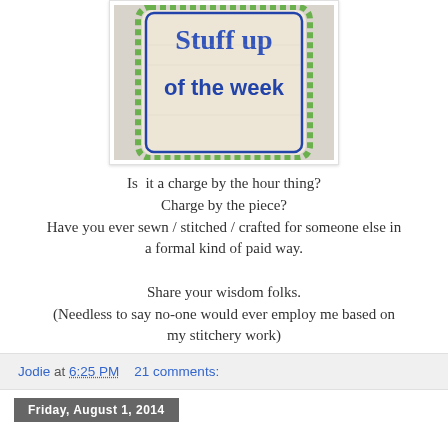[Figure (photo): A embroidered fabric patch/badge with text 'Stuff up of the week' stitched in blue on linen/burlap with a green scalloped border, placed on a white background.]
Is  it a charge by the hour thing?
Charge by the piece?
Have you ever sewn / stitched / crafted for someone else in a formal kind of paid way.

Share your wisdom folks.
(Needless to say no-one would ever employ me based on my stitchery work)
Jodie at 6:25 PM    21 comments:
Friday, August 1, 2014